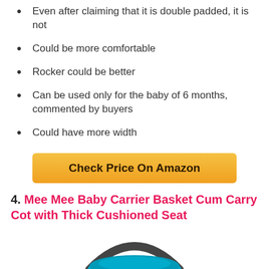Even after claiming that it is double padded, it is not
Could be more comfortable
Rocker could be better
Can be used only for the baby of 6 months, commented by buyers
Could have more width
[Figure (other): Check Price On Amazon button (yellow/orange rounded rectangle)]
4. Mee Mee Baby Carrier Basket Cum Carry Cot with Thick Cushioned Seat
[Figure (photo): Partial image of Mee Mee Baby Carrier Basket product, showing top portion with dark handle and teal/blue seat]